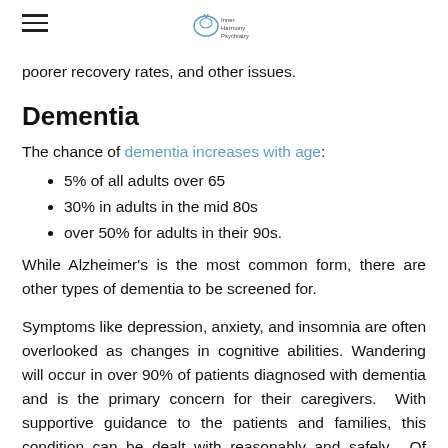[hamburger menu] [logo]
poorer recovery rates, and other issues.
Dementia
The chance of dementia increases with age:
5% of all adults over 65
30% in adults in the mid 80s
over 50% for adults in their 90s.
While Alzheimer's is the most common form, there are other types of dementia to be screened for.
Symptoms like depression, anxiety, and insomnia are often overlooked as changes in cognitive abilities. Wandering will occur in over 90% of patients diagnosed with dementia and is the primary concern for their caregivers.  With supportive guidance to the patients and families, this condition can be dealt with reasonably and safely.  Of primary concern is safe